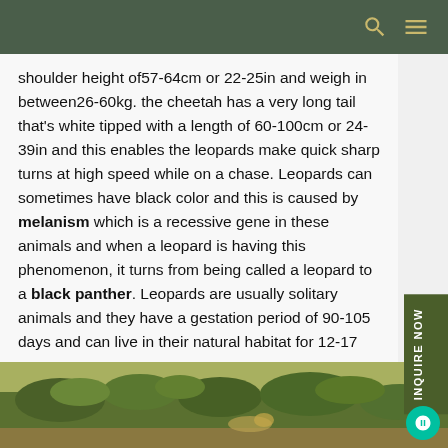search and menu icons
shoulder height of57-64cm or 22-25in and weigh in between26-60kg. the cheetah has a very long tail that's white tipped with a length of 60-100cm or 24-39in and this enables the leopards make quick sharp turns at high speed while on a chase. Leopards can sometimes have black color and this is caused by melanism which is a recessive gene in these animals and when a leopard is having this phenomenon, it turns from being called a leopard to a black panther. Leopards are usually solitary animals and they have a gestation period of 90-105 days and can live in their natural habitat for 12-17 years.
[Figure (photo): Photograph of a leopard or big cat in natural savanna/bush habitat with green vegetation]